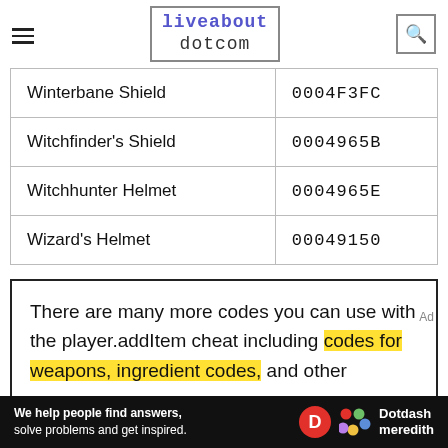liveabout dotcom
| Item | Code |
| --- | --- |
| Winterbane Shield | 0004F3FC |
| Witchfinder's Shield | 0004965B |
| Witchhunter Helmet | 0004965E |
| Wizard's Helmet | 00049150 |
There are many more codes you can use with the player.addItem cheat including codes for weapons, ingredient codes, and other
We help people find answers, solve problems and get inspired. Dotdash meredith